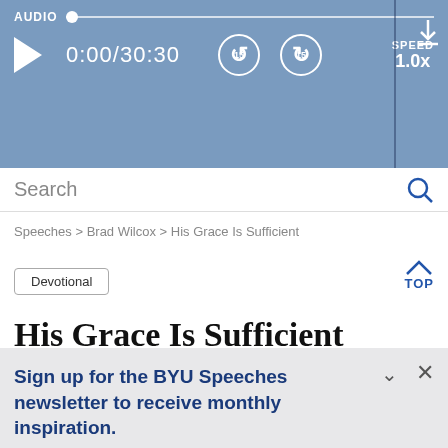[Figure (screenshot): Audio player bar with AUDIO label, track slider, play button, time display 0:00/30:30, skip back 15s, skip forward 15s, SPEED 1.0x, and download icon on a blue-grey background]
Search
Speeches > Brad Wilcox > His Grace Is Sufficient
Devotional
TOP
His Grace Is Sufficient
Sign up for the BYU Speeches newsletter to receive monthly inspiration.
A little hope in your inbox.
Enter your email
SUBSCRIBE